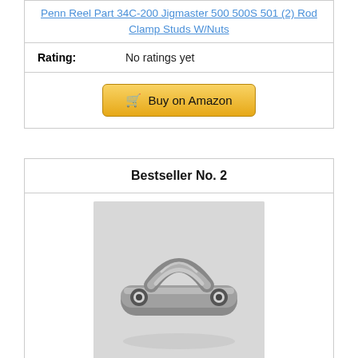Penn Reel Part 34C-200 Jigmaster 500 500S 501 (2) Rod Clamp Studs W/Nuts
Rating: No ratings yet
Buy on Amazon
Bestseller No. 2
[Figure (photo): A metal rod clamp/saddle clamp with two circular holes on a light gray background]